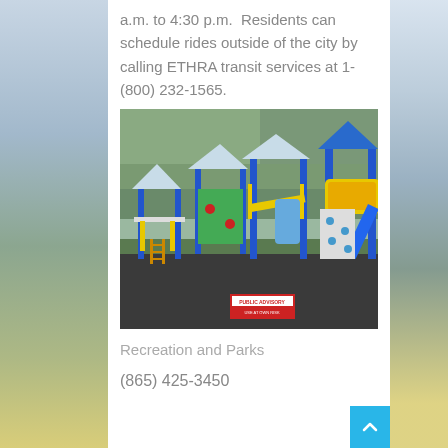a.m. to 4:30 p.m.  Residents can schedule rides outside of the city by calling ETHRA transit services at 1- (800) 232-1565.
[Figure (photo): Colorful playground equipment with blue poles, yellow railings, and light blue roof structures, set on dark asphalt with a 'Public Advisory - Use At Own Risk' sign visible in foreground.]
Recreation and Parks
(865) 425-3450